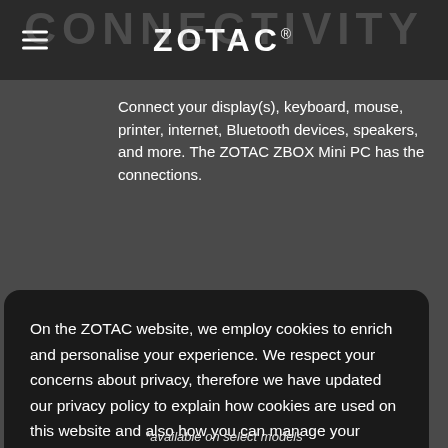[Figure (screenshot): ZOTAC website screenshot showing navigation bar with hamburger menu icon and ZOTAC logo, with CONNECTIVITY watermark text and product description text partially visible behind cookie consent modal.]
Connect your display(s), keyboard, mouse, printer, internet, Bluetooth devices, speakers, and more. The ZOTAC ZBOX Mini PC has the connections.
On the ZOTAC website, we employ cookies to enrich and personalise your experience. We respect your concerns about privacy, therefore we have updated our privacy policy to explain how cookies are used on this website and also how you can manage your cookie settings at any time. For detailed information, please click on  Find Out More
Decline
Agree
*available on select models